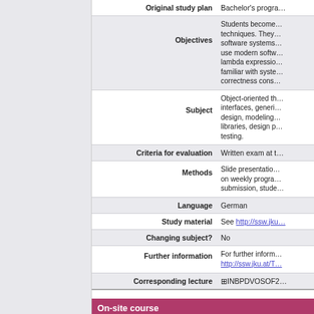| Field | Value |
| --- | --- |
| Original study plan | Bachelor's progra… |
| Objectives | Students become… |
| Subject | Object-oriented th… |
| Criteria for evaluation | Written exam at t… |
| Methods | Slide presentatio… |
| Language | German |
| Study material | See http://ssw.jku… |
| Changing subject? | No |
| Further information | For further inform… http://ssw.jku.at/T… |
| Corresponding lecture | ⊠INBPDVOSOF2… |
On-site course
| Field | Value |
| --- | --- |
| Maximum number of participants | - |
| Assignment procedure | Direct assignmen… |